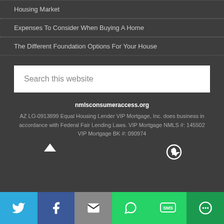Housing Market
Expenses To Consider When Buying A Home
The Different Foundation Options For Your House
Search this website
nmlsconsumeraccess.org
AZ LO-0913899 Equal Housing Lender VIP Mortgage, Inc. does business in accordance with Federal Fair Lending Laws. VIP Mortgage NMLS #: 145502 VIP Mortgage BK #: 090974
Twitter | Facebook | Email | WhatsApp | SMS | More